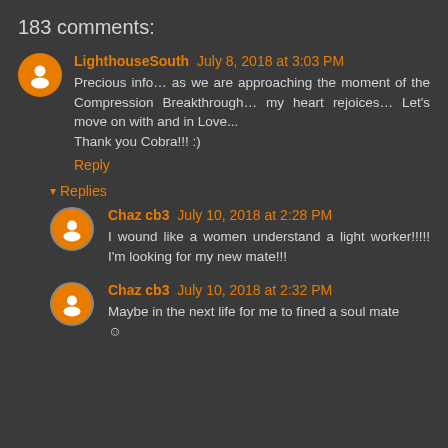183 comments:
LighthouseSouth July 8, 2018 at 3:03 PM
Precious info… as we are approaching the moment of the Compression Breakthrough… my heart rejoices… Let's move on with and in Love...
Thank you Cobra!!! :)
Reply
▾ Replies
Chaz cb3 July 10, 2018 at 2:28 PM
I wound like a women understand a light worker!!!!! I'm looking for my new mate!!!
Chaz cb3 July 10, 2018 at 2:32 PM
Maybe in the next life for me to fined a soul mate ☺